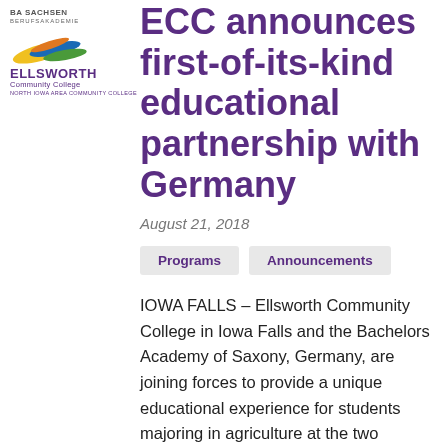[Figure (logo): BA Sachsen logo text and Ellsworth Community College logo with wave graphic]
ECC announces first-of-its-kind educational partnership with Germany
August 21, 2018
Programs   Announcements
IOWA FALLS – Ellsworth Community College in Iowa Falls and the Bachelors Academy of Saxony, Germany, are joining forces to provide a unique educational experience for students majoring in agriculture at the two colleges. The public is invited to learn about the partnership at a special event on